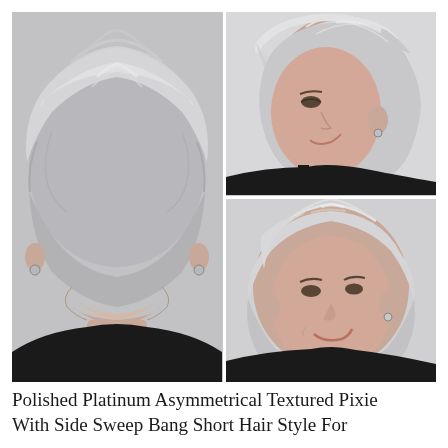[Figure (photo): Three-panel photo collage showing a woman's platinum silver asymmetrical textured pixie haircut. Left panel: back view of the short layered silver-blonde pixie cut showing the neckline and ear. Top right panel: side profile view showing the long side-swept bangs covering one eye. Bottom right panel: front three-quarter view showing the full textured pixie with side bangs and a smile.]
Polished Platinum Asymmetrical Textured Pixie With Side Sweep Bang Short Hair Style For